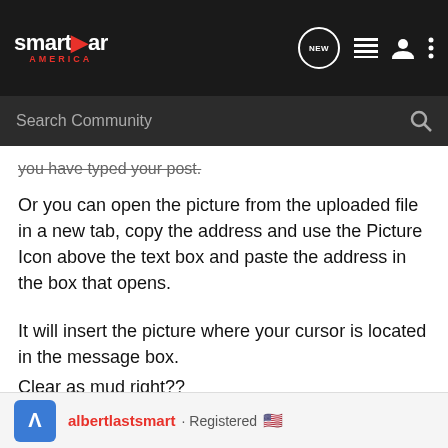smart car America — Search Community
you have typed your post.
Or you can open the picture from the uploaded file in a new tab, copy the address and use the Picture Icon above the text box and paste the address in the box that opens.
It will insert the picture where your cursor is located in the message box.
Clear as mud right??
NW453
albertlastsmart · Registered